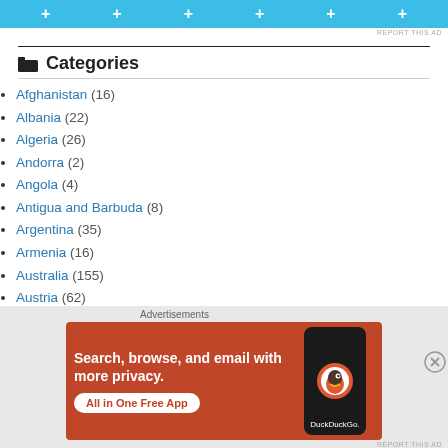[Figure (other): Blue ad banner with plus signs]
Categories
Afghanistan (16)
Albania (22)
Algeria (26)
Andorra (2)
Angola (4)
Antigua and Barbuda (8)
Argentina (35)
Armenia (16)
Australia (155)
Austria (62)
Azerbaijan (24)
Bahrain (21)
Bangladesh (19)
[Figure (other): DuckDuckGo advertisement banner: Search, browse, and email with more privacy. All in One Free App.]